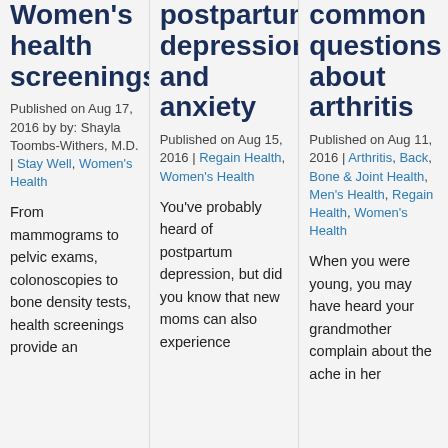Women's health screenings
Published on Aug 17, 2016 by by: Shayla Toombs-Withers, M.D. | Stay Well, Women's Health
From mammograms to pelvic exams, colonoscopies to bone density tests, health screenings provide an
postpartum depression and anxiety
Published on Aug 15, 2016 | Regain Health, Women's Health
You've probably heard of postpartum depression, but did you know that new moms can also experience
common questions about arthritis
Published on Aug 11, 2016 | Arthritis, Back, Bone & Joint Health, Men's Health, Regain Health, Women's Health
When you were young, you may have heard your grandmother complain about the ache in her